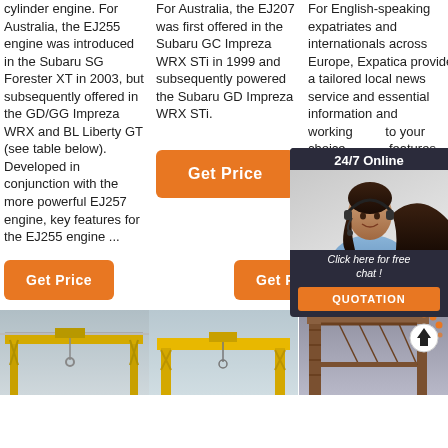cylinder engine. For Australia, the EJ255 engine was introduced in the Subaru SG Forester XT in 2003, but subsequently offered in the GD/GG Impreza WRX and BL Liberty GT (see table below). Developed in conjunction with the more powerful EJ257 engine, key features for the EJ255 engine ...
For Australia, the EJ207 was first offered in the Subaru GC Impreza WRX STi in 1999 and subsequently powered the Subaru GD Impreza WRX STi.
For English-speaking expatriates and internationals across Europe, Expatica provides a tailored local news service and essential information and working expatriate to your country of choice. Expatica features brings the international community together.
[Figure (infographic): 24/7 Online chat ad overlay with woman headset photo and QUOTATION button]
Get Price (column 2 button)
Get Price (column 1 bottom button)
Get Price (column 3 bottom button)
[Figure (photo): Yellow gantry crane against grey sky, left panel]
[Figure (photo): Yellow gantry crane against grey sky, center panel]
[Figure (photo): Brown/rusted large gantry crane structure with scroll-to-top icon overlay, right panel]